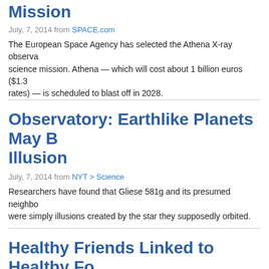Mission
July, 7, 2014 from SPACE.com
The European Space Agency has selected the Athena X-ray observa… science mission. Athena — which will cost about 1 billion euros ($1.3… rates) — is scheduled to blast off in 2028.
Observatory: Earthlike Planets May B… Illusion
July, 7, 2014 from NYT > Science
Researchers have found that Gliese 581g and its presumed neighbo… were simply illusions created by the star they supposedly orbited.
Healthy Friends Linked to Healthy Fo…
July, 7, 2014 from Scientific American
Customers at the same table are found to pick main dishes from the s… fellow diners -- Read more on ScientificAmerican.com
Global Health: New Field Tests May C…